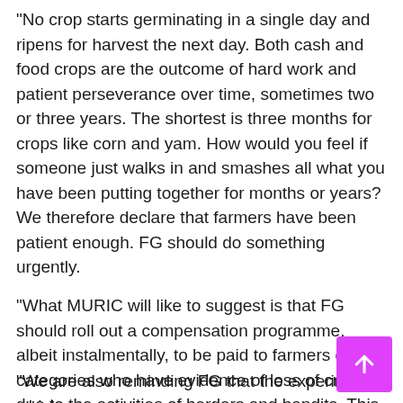"No crop starts germinating in a single day and ripens for harvest the next day. Both cash and food crops are the outcome of hard work and patient perseverance over time, sometimes two or three years. The shortest is three months for crops like corn and yam. How would you feel if someone just walks in and smashes all what you have been putting together for months or years? We therefore declare that farmers have been patient enough. FG should do something urgently.
"What MURIC will like to suggest is that FG should roll out a compensation programme, albeit instalmentally, to be paid to farmers of all categories who have evidence of loss of crops due to the activities of herders and bandits. This will make government's policy of bailout comprehensive, fair and balanced.
"We are also reminding FG that the experiment which...